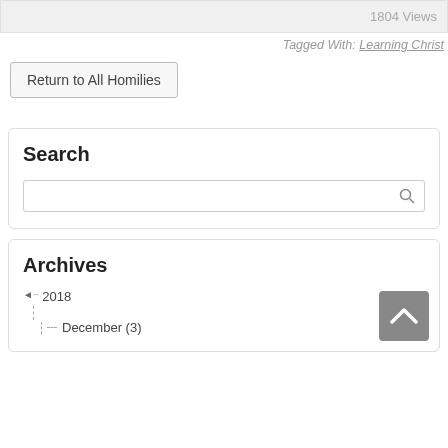1804 Views
Tagged With: Learning Christ
Return to All Homilies
Search
Archives
2018
December (3)